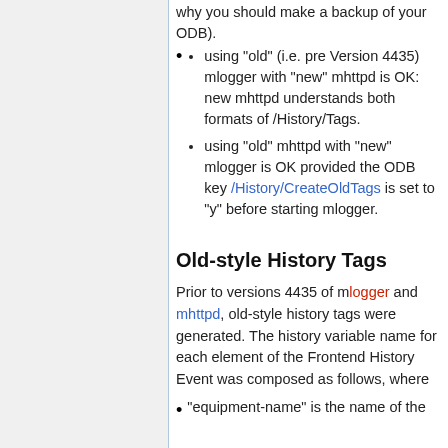using "old" (i.e. pre Version 4435) mlogger with "new" mhttpd is OK: new mhttpd understands both formats of /History/Tags.
using "old" mhttpd with "new" mlogger is OK provided the ODB key /History/CreateOldTags is set to "y" before starting mlogger.
Old-style History Tags
Prior to versions 4435 of mlogger and mhttpd, old-style history tags were generated. The history variable name for each element of the Frontend History Event was composed as follows, where
"equipment-name" is the name of the